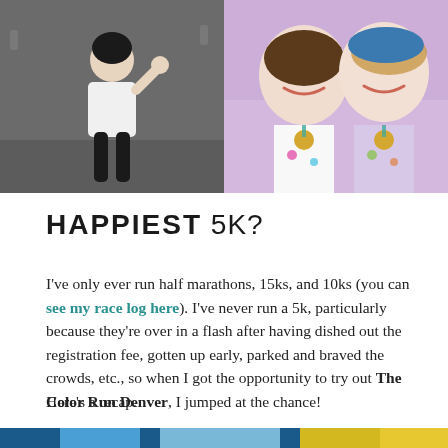[Figure (photo): Two photos side by side: left shows a woman running in a white shirt and black leggings pumping her fist, right shows two women smiling for a selfie wearing race medals and colorful gear]
HAPPIEST 5K?
I've only ever run half marathons, 15ks, and 10ks (you can see my race log here). I've never run a 5k, particularly because they're over in a flash after having dished out the registration fee, gotten up early, parked and braved the crowds, etc., so when I got the opportunity to try out The Color Run Denver, I jumped at the chance!
Here's a recap.
[Figure (photo): Bottom partial photo showing the Color Run event setup with blue and yellow colors visible]